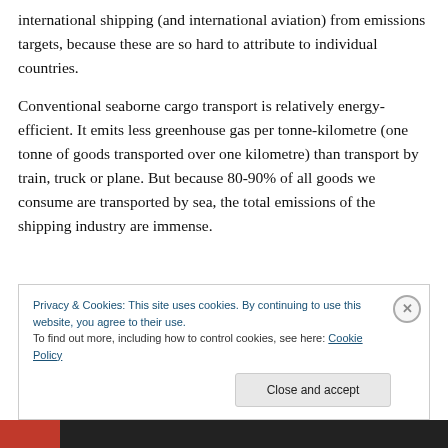international shipping (and international aviation) from emissions targets, because these are so hard to attribute to individual countries.
Conventional seaborne cargo transport is relatively energy-efficient. It emits less greenhouse gas per tonne-kilometre (one tonne of goods transported over one kilometre) than transport by train, truck or plane. But because 80-90% of all goods we consume are transported by sea, the total emissions of the shipping industry are immense.
Privacy & Cookies: This site uses cookies. By continuing to use this website, you agree to their use. To find out more, including how to control cookies, see here: Cookie Policy